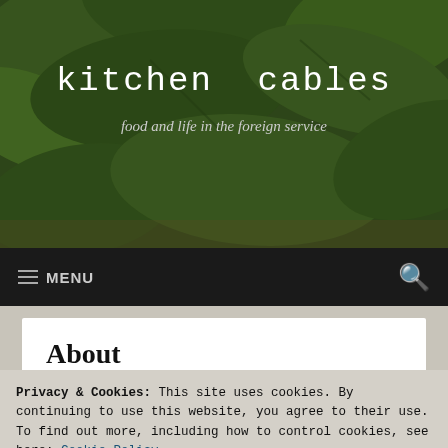[Figure (photo): Green leafy vegetables (spinach/basil leaves) background photo serving as website header image]
kitchen cables
food and life in the foreign service
≡ MENU
About
Privacy & Cookies: This site uses cookies. By continuing to use this website, you agree to their use.
To find out more, including how to control cookies, see here: Cookie Policy
Close and accept
served in Tashkent, Uzbekistan; Belgrade,